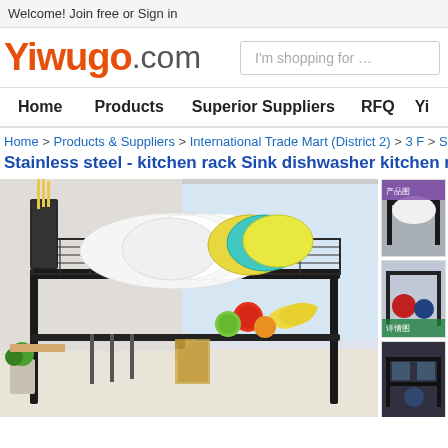Welcome! Join free or Sign in
[Figure (logo): Yiwugo.com logo in orange and grey with search box]
Home   Products   Superior Suppliers   RFQ   Yi
Home > Products & Suppliers > International Trade Mart (District 2) > 3 F > Small Ho
Stainless steel - kitchen rack Sink dishwasher kitchen rack
[Figure (photo): Main product photo of a black stainless steel kitchen dish rack with plates, chopsticks, fruits, and kitchen tools, plus thumbnail images on the right]
[Figure (photo): Thumbnail 1: product photo overhead or angle view]
[Figure (photo): Thumbnail 2: product photo with red item]
[Figure (photo): Thumbnail 3: product photo in dark tones]